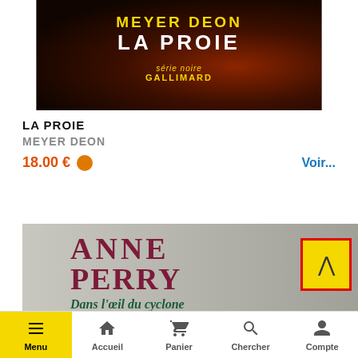[Figure (illustration): Book cover for LA PROIE by Deon Meyer, Série Noire Gallimard, dark red/black background with title in white and author name in yellow]
LA PROIE
MEYER DEON
18.00 € Voir...
[Figure (illustration): Partially visible book cover for Anne Perry 'Dans l'œil du cyclone', dark red serif title on grey background]
Menu  Accueil  Panier  Chercher  Compte